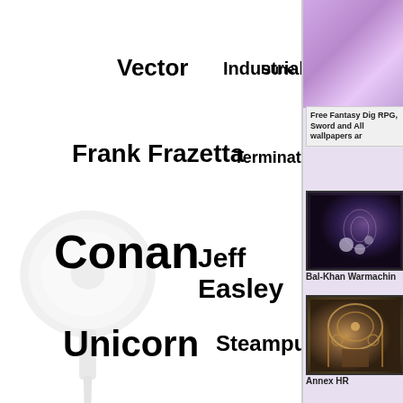[Figure (infographic): Tag cloud with pin/pushpin graphic in background. Tags include Vector, Industrial, Dune, Frank Frazetta, Terminator, Conan, Jeff Easley, Unicorn, Steampunk, Grand Canyon, Full List of Available Tags.]
[Figure (illustration): Right column with purple gradient banner at top]
Free Fantasy Dig RPG, Sword and All wallpapers ar
[Figure (photo): Bal-Khan Warmachin thumbnail image - dark fantasy scene]
Bal-Khan Warmachin
[Figure (photo): Annex HR thumbnail image - steampunk mechanical scene]
Annex HR